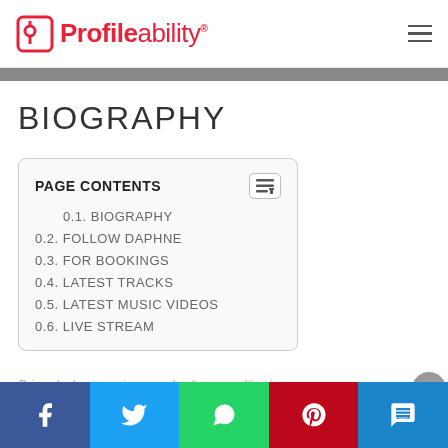Profileability
BIOGRAPHY
| PAGE CONTENTS |
| --- |
| 0.1. BIOGRAPHY |
| 0.2. FOLLOW DAPHNE |
| 0.3. FOR BOOKINGS |
| 0.4. LATEST TRACKS |
| 0.5. LATEST MUSIC VIDEOS |
| 0.6. LIVE STREAM |
Driven by her experience and culture, resulting in a
Facebook | Twitter | WhatsApp | Pinterest | SMS